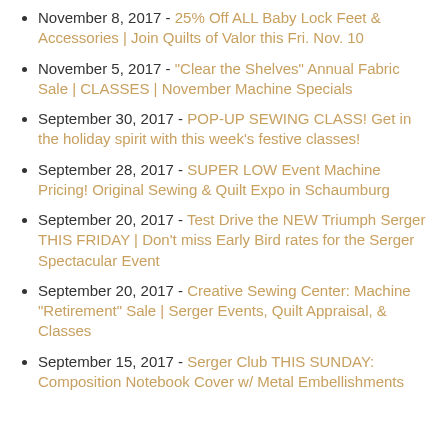November 8, 2017  -  25% Off ALL Baby Lock Feet & Accessories | Join Quilts of Valor this Fri. Nov. 10
November 5, 2017  -  "Clear the Shelves" Annual Fabric Sale | CLASSES | November Machine Specials
September 30, 2017  -  POP-UP SEWING CLASS! Get in the holiday spirit with this week's festive classes!
September 28, 2017  -  SUPER LOW Event Machine Pricing! Original Sewing & Quilt Expo in Schaumburg
September 20, 2017  -  Test Drive the NEW Triumph Serger THIS FRIDAY | Don't miss Early Bird rates for the Serger Spectacular Event
September 20, 2017  -  Creative Sewing Center: Machine "Retirement" Sale | Serger Events, Quilt Appraisal, & Classes
September 15, 2017  -  Serger Club THIS SUNDAY: Composition Notebook Cover w/ Metal Embellishments